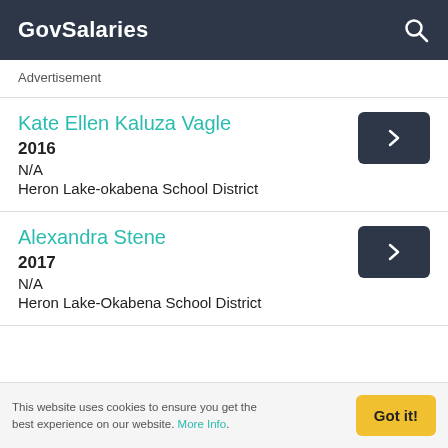GovSalaries
Advertisement
Kate Ellen Kaluza Vagle
2016
N/A
Heron Lake-okabena School District
Alexandra Stene
2017
N/A
Heron Lake-Okabena School District
This website uses cookies to ensure you get the best experience on our website. More Info.